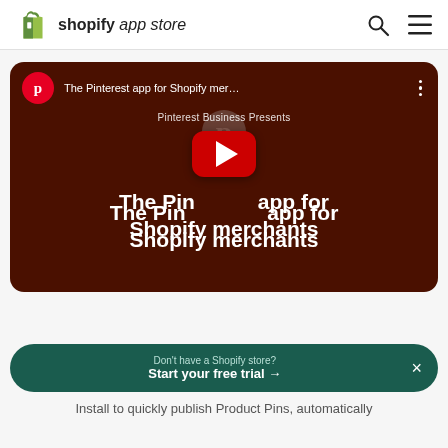shopify app store
[Figure (screenshot): YouTube video thumbnail for 'The Pinterest app for Shopify merchants' by Pinterest Business Presents, with a red YouTube play button in the center, on a dark brown background]
Don't have a Shopify store?
Start your free trial →
Install to quickly publish Product Pins, automatically